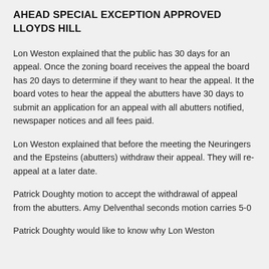AHEAD SPECIAL EXCEPTION APPROVED LLOYDS HILL
Lon Weston explained that the public has 30 days for an appeal. Once the zoning board receives the appeal the board has 20 days to determine if they want to hear the appeal. It the board votes to hear the appeal the abutters have 30 days to submit an application for an appeal with all abutters notified, newspaper notices and all fees paid.
Lon Weston explained that before the meeting the Neuringers and the Epsteins (abutters) withdraw their appeal. They will re-appeal at a later date.
Patrick Doughty motion to accept the withdrawal of appeal from the abutters. Amy Delventhal seconds motion carries 5-0
Patrick Doughty would like to know why Lon Weston